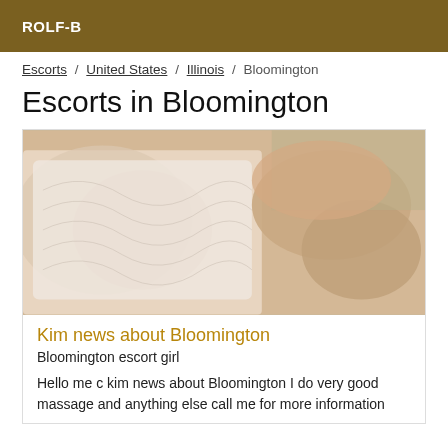ROLF-B
Escorts / United States / Illinois / Bloomington
Escorts in Bloomington
[Figure (photo): Close-up photo of a person wearing a white lace top, lying down]
Kim news about Bloomington
Bloomington escort girl
Hello me c kim news about Bloomington I do very good massage and anything else call me for more information